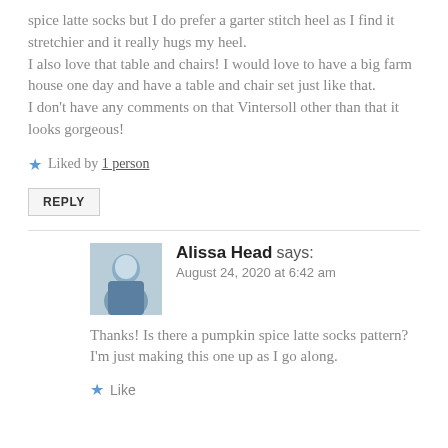spice latte socks but I do prefer a garter stitch heel as I find it stretchier and it really hugs my heel.
I also love that table and chairs! I would love to have a big farm house one day and have a table and chair set just like that.
I don't have any comments on that Vintersoll other than that it looks gorgeous!
Liked by 1 person
REPLY
Alissa Head says:
August 24, 2020 at 6:42 am
Thanks! Is there a pumpkin spice latte socks pattern? I'm just making this one up as I go along.
Like